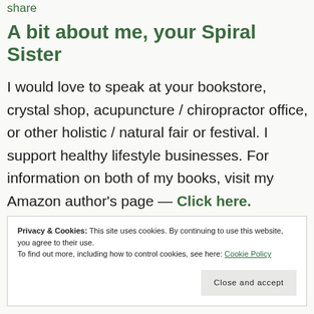share
A bit about me, your Spiral Sister
I would love to speak at your bookstore, crystal shop, acupuncture / chiropractor office, or other holistic / natural fair or festival. I support healthy lifestyle businesses. For information on both of my books, visit my Amazon author's page — Click here.
Privacy & Cookies: This site uses cookies. By continuing to use this website, you agree to their use.
To find out more, including how to control cookies, see here: Cookie Policy
Close and accept